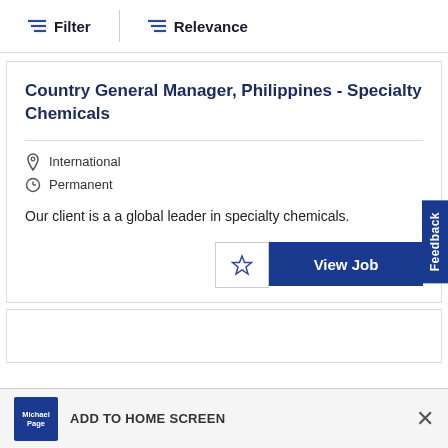Filter   Relevance
Country General Manager, Philippines - Specialty Chemicals
International
Permanent
Our client is a a global leader in specialty chemicals.
ADD TO HOME SCREEN